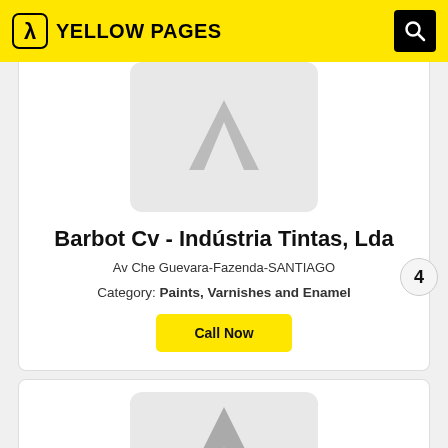YELLOW PAGES
[Figure (logo): Yellow Pages logo with lambda icon]
Barbot Cv - Indústria Tintas, Lda
Av Che Guevara-Fazenda-SANTIAGO
Category: Paints, Varnishes and Enamel
Call Now
4